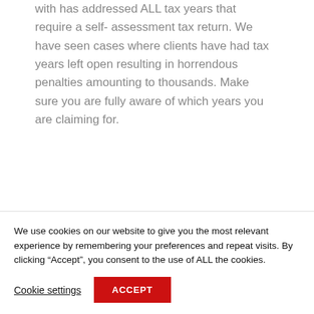with has addressed ALL tax years that require a self- assessment tax return. We have seen cases where clients have had tax years left open resulting in horrendous penalties amounting to thousands. Make sure you are fully aware of which years you are claiming for.
Tax codes……  Ensure your tax code has returned to normal following on from the refund process, if your refund
We use cookies on our website to give you the most relevant experience by remembering your preferences and repeat visits. By clicking “Accept”, you consent to the use of ALL the cookies.
Cookie settings
ACCEPT